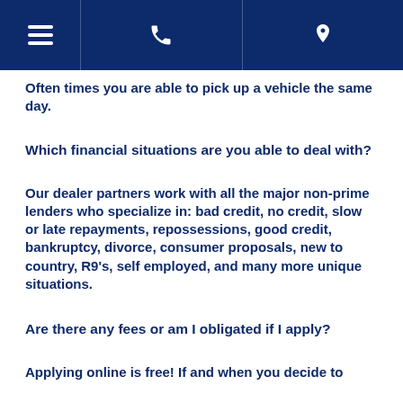[navigation bar with hamburger menu, phone icon, and location icon]
Often times you are able to pick up a vehicle the same day.
Which financial situations are you able to deal with?
Our dealer partners work with all the major non-prime lenders who specialize in: bad credit, no credit, slow or late repayments, repossessions, good credit, bankruptcy, divorce, consumer proposals, new to country, R9's, self employed, and many more unique situations.
Are there any fees or am I obligated if I apply?
Applying online is free! If and when you decide to